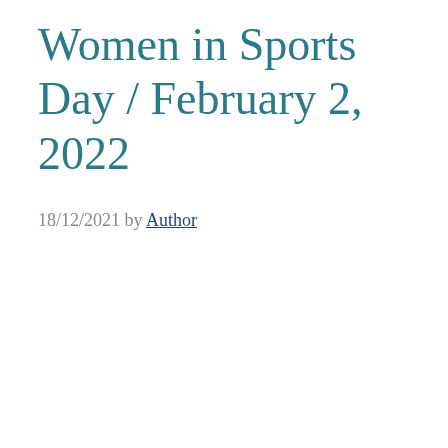Women in Sports Day / February 2, 2022
18/12/2021 by Author